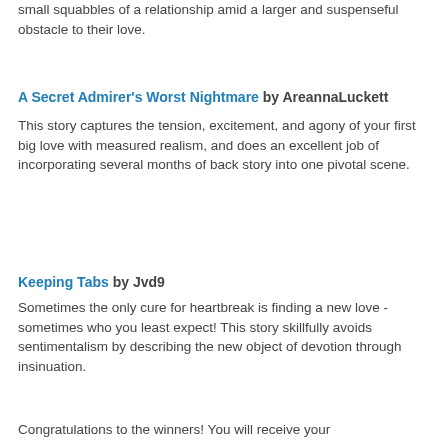small squabbles of a relationship amid a larger and suspenseful obstacle to their love.
A Secret Admirer's Worst Nightmare by AreannaLuckett
This story captures the tension, excitement, and agony of your first big love with measured realism, and does an excellent job of incorporating several months of back story into one pivotal scene.
Keeping Tabs by Jvd9
Sometimes the only cure for heartbreak is finding a new love - sometimes who you least expect! This story skillfully avoids sentimentalism by describing the new object of devotion through insinuation.
Congratulations to the winners! You will receive your